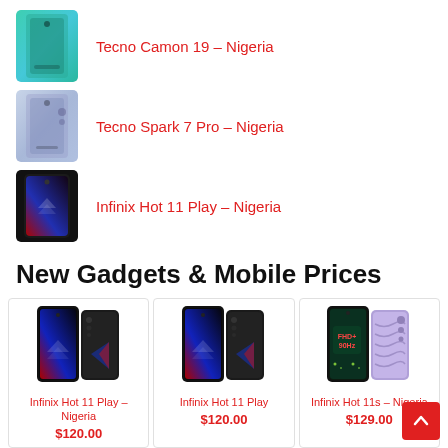Tecno Camon 19 – Nigeria
Tecno Spark 7 Pro – Nigeria
Infinix Hot 11 Play – Nigeria
New Gadgets & Mobile Prices
[Figure (photo): Infinix Hot 11 Play phone product image (black, front and back)]
Infinix Hot 11 Play – Nigeria
$120.00
[Figure (photo): Infinix Hot 11 Play phone product image (black, front and back)]
Infinix Hot 11 Play
$120.00
[Figure (photo): Infinix Hot 11s phone product image showing FHD+ 90Hz screen and purple back]
Infinix Hot 11s – Nigeria
$129.00